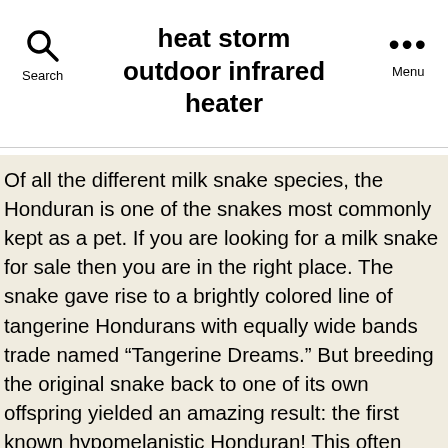heat storm outdoor infrared heater
Of all the different milk snake species, the Honduran is one of the snakes most commonly kept as a pet. If you are looking for a milk snake for sale then you are in the right place. The snake gave rise to a brightly colored line of tangerine Hondurans with equally wide bands trade named âTangerine Dreams.â But breeding the original snake back to one of its own offspring yielded an amazing result: the first known hypomelanistic Honduran! This often results in stunning offspring. Buy Bi-Color Tangerine Albino Honduran Milksnakes for sale online. The eastern milksnakeâs status was delisted from being a species at risk in Ontario in 2016. Related Products. Add to Cart View Options. Try browsing the Milk Snakes Index if